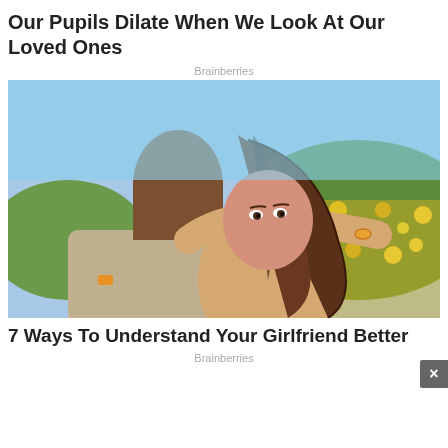Our Pupils Dilate When We Look At Our Loved Ones
Brainberries
[Figure (photo): A woman with long brown hair hugging a man from behind, looking at the camera over his shoulder. Yellow flowers and blue sky in the background.]
7 Ways To Understand Your Girlfriend Better
Brainberries